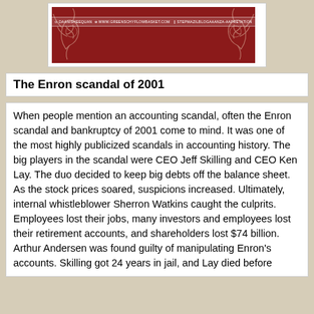[Figure (illustration): A decorative banner with dark red background, white rose illustrations on the left and right corners, and a white text bar in the center with contact/website information.]
The Enron scandal of 2001
When people mention an accounting scandal, often the Enron scandal and bankruptcy of 2001 come to mind. It was one of the most highly publicized scandals in accounting history. The big players in the scandal were CEO Jeff Skilling and CEO Ken Lay. The duo decided to keep big debts off the balance sheet. As the stock prices soared, suspicions increased. Ultimately, internal whistleblower Sherron Watkins caught the culprits. Employees lost their jobs, many investors and employees lost their retirement accounts, and shareholders lost $74 billion. Arthur Andersen was found guilty of manipulating Enron's accounts. Skilling got 24 years in jail, and Lay died before